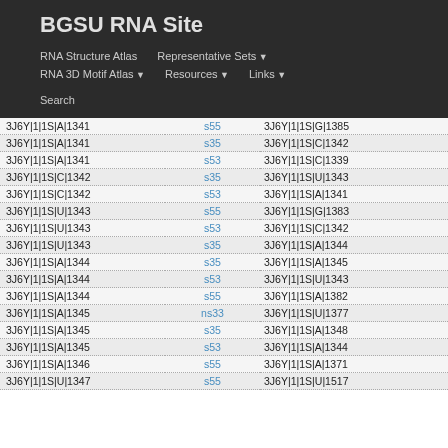BGSU RNA Site
RNA Structure Atlas   Representative Sets ▼   RNA 3D Motif Atlas ▼   Resources ▼   Links ▼   Search
| Nucleotide 1 | Interaction | Nucleotide 2 |
| --- | --- | --- |
| 3J6Y|1|1S|A|1341 | s55 | 3J6Y|1|1S|G|1385 |
| 3J6Y|1|1S|A|1341 | s35 | 3J6Y|1|1S|C|1342 |
| 3J6Y|1|1S|A|1341 | s53 | 3J6Y|1|1S|C|1339 |
| 3J6Y|1|1S|C|1342 | s35 | 3J6Y|1|1S|U|1343 |
| 3J6Y|1|1S|C|1342 | s53 | 3J6Y|1|1S|A|1341 |
| 3J6Y|1|1S|U|1343 | s55 | 3J6Y|1|1S|G|1383 |
| 3J6Y|1|1S|U|1343 | s53 | 3J6Y|1|1S|C|1342 |
| 3J6Y|1|1S|U|1343 | s35 | 3J6Y|1|1S|A|1344 |
| 3J6Y|1|1S|A|1344 | s35 | 3J6Y|1|1S|A|1345 |
| 3J6Y|1|1S|A|1344 | s53 | 3J6Y|1|1S|U|1343 |
| 3J6Y|1|1S|A|1344 | s55 | 3J6Y|1|1S|A|1382 |
| 3J6Y|1|1S|A|1345 | ns33 | 3J6Y|1|1S|U|1377 |
| 3J6Y|1|1S|A|1345 | s35 | 3J6Y|1|1S|A|1348 |
| 3J6Y|1|1S|A|1345 | s53 | 3J6Y|1|1S|A|1344 |
| 3J6Y|1|1S|A|1346 | s55 | 3J6Y|1|1S|A|1371 |
| 3J6Y|1|1S|U|1347 | s55 | 3J6Y|1|1S|U|1517 |